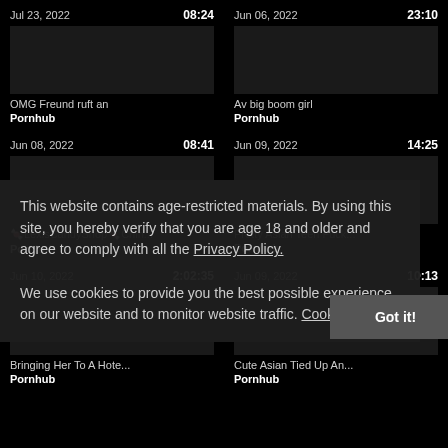Jul 23, 2022  08:24
Jun 06, 2022  23:10
OMG Freund ruft an
Av big boom girl
Pornhub
Pornhub
Jun 08, 2022  08:41
Jun 09, 2022  14:25
🍬LexisCandyShop🍬Chin...
Pretty Asian Teen Fuck...
Pornhub
Pornhub
Jun 10, 2022  2:02:35
Jun 09, 2022  10:13
Bringing Her To A Hote...
Cute Asian Tied Up An...
Pornhub
Pornhub
This website contains age-restricted materials. By using this site, you hereby verify that you are age 18 and older and agree to comply with all the Privacy Policy. We use cookies to provide you the best possible experience on our website and to monitor website traffic. Cookies Policy.